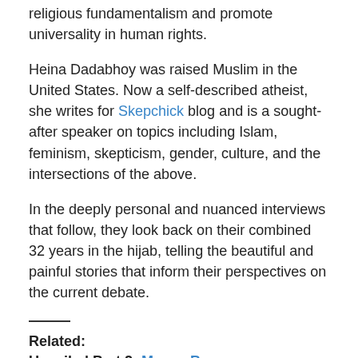religious fundamentalism and promote universality in human rights.
Heina Dadabhoy was raised Muslim in the United States. Now a self-described atheist, she writes for Skepchick blog and is a sought-after speaker on topics including Islam, feminism, skepticism, gender, culture, and the intersections of the above.
In the deeply personal and nuanced interviews that follow, they look back on their combined 32 years in the hijab, telling the beautiful and painful stories that inform their perspectives on the current debate.
Related:
Unveiled Part 2: Marwa Berro